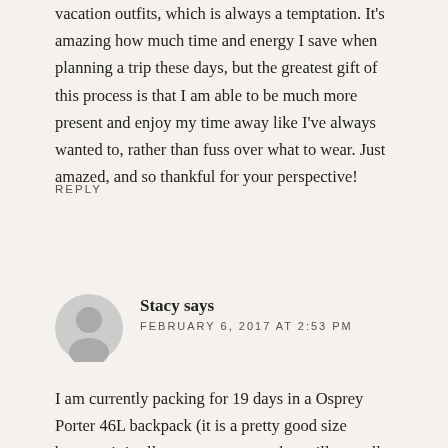vacation outfits, which is always a temptation. It's amazing how much time and energy I save when planning a trip these days, but the greatest gift of this process is that I am able to be much more present and enjoy my time away like I've always wanted to, rather than fuss over what to wear. Just amazed, and so thankful for your perspective!
REPLY
[Figure (illustration): Gray circular avatar icon with a silhouette of a person]
Stacy says
FEBRUARY 6, 2017 AT 2:53 PM
I am currently packing for 19 days in a Osprey Porter 46L backpack (it is a pretty good size because it is all one compartment but still a small carry on size).